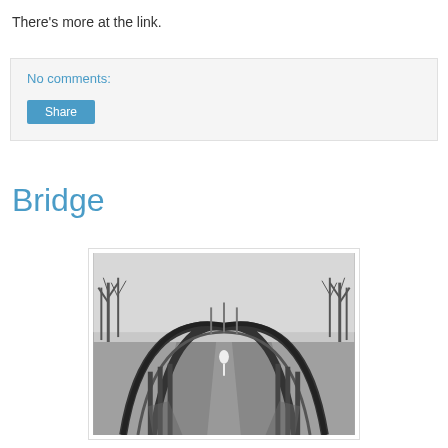There's more at the link.
No comments:
Share
Bridge
[Figure (photo): Black and white photograph of a bridge with two arched metal structures on either side of a pathway. A person in white is visible in the distance at the end of the bridge. Bare winter trees are visible in the background.]